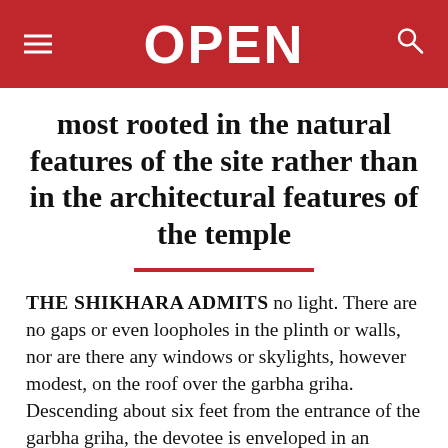OPEN
most rooted in the natural features of the site rather than in the architectural features of the temple
THE SHIKHARA ADMITS no light. There are no gaps or even loopholes in the plinth or walls, nor are there any windows or skylights, however modest, on the roof over the garbha griha. Descending about six feet from the entrance of the garbha griha, the devotee is enveloped in an amniotic darkness, facing the opening in the rock